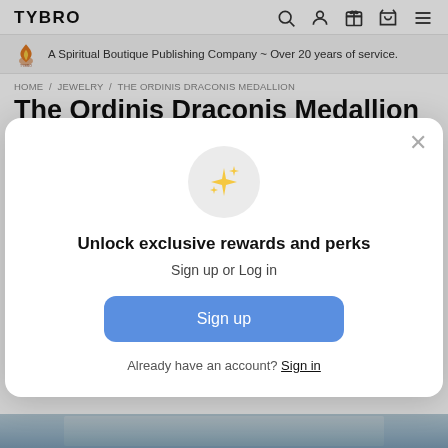TYBRO
A Spiritual Boutique Publishing Company ~ Over 20 years of service.
HOME / JEWELRY / THE ORDINIS DRACONIS MEDALLION
The Ordinis Draconis Medallion
★★★★★ (12 reviews)
Write a Review
[Figure (infographic): Modal popup with sparkle/star icon, headline 'Unlock exclusive rewards and perks', subtext 'Sign up or Log in', a blue Sign up button, and footer text 'Already have an account? Sign in', with an X close button.]
[Figure (photo): Bottom strip showing partial product image of the Ordinis Draconis medallion coin]